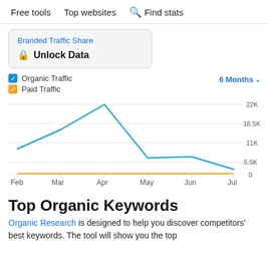Free tools   Top websites   🔍 Find stats
Branded Traffic Share
🔒 Unlock Data
[Figure (line-chart): Organic Traffic vs Paid Traffic (6 Months)]
Top Organic Keywords
Organic Research is designed to help you discover competitors' best keywords. The tool will show you the top